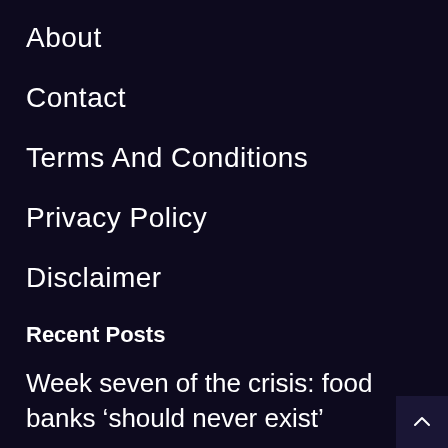About
Contact
Terms And Conditions
Privacy Policy
Disclaimer
Recent Posts
Week seven of the crisis: food banks ‘should never exist’
How our politicians are hurting frontline health care workers